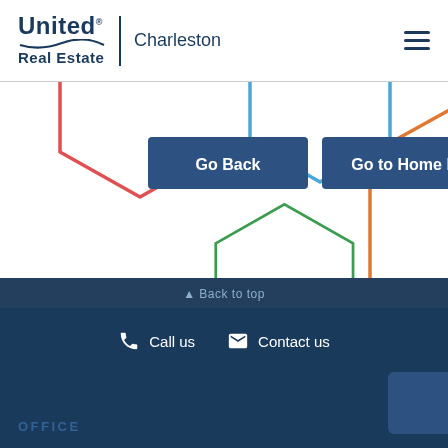United Real Estate | Charleston
[Figure (illustration): Navigation error page with colorful partial hexagon outlines (red, blue, orange, green) and two navigation buttons: Go Back and Go to Home Page]
Go Back
Go to Home Page
Back to top | Call us | Contact us | OFFICE